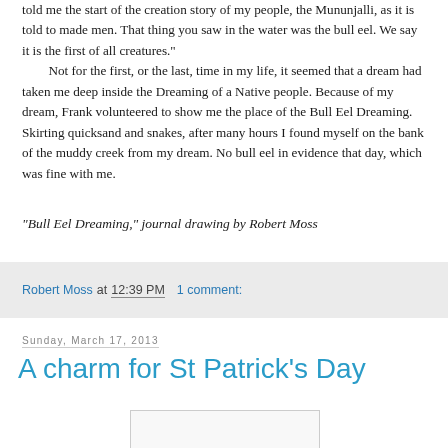told me the start of the creation story of my people, the Mununjalli, as it is told to made men. That thing you saw in the water was the bull eel. We say it is the first of all creatures."

Not for the first, or the last, time in my life, it seemed that a dream had taken me deep inside the Dreaming of a Native people. Because of my dream, Frank volunteered to show me the place of the Bull Eel Dreaming. Skirting quicksand and snakes, after many hours I found myself on the bank of the muddy creek from my dream. No bull eel in evidence that day, which was fine with me.
"Bull Eel Dreaming," journal drawing by Robert Moss
Robert Moss at 12:39 PM   1 comment:
Sunday, March 17, 2013
A charm for St Patrick's Day
[Figure (other): Partially visible image placeholder at bottom of page]